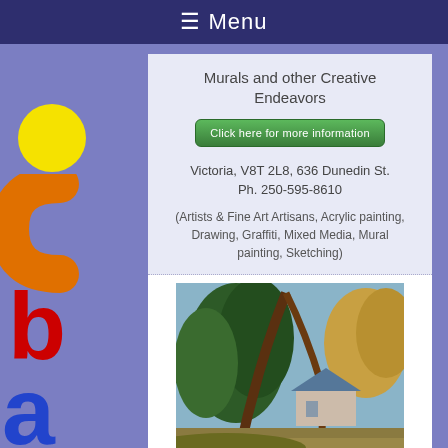☰ Menu
Murals and other Creative Endeavors
Click here for more information
Victoria, V8T 2L8, 636 Dunedin St.
Ph. 250-595-8610
(Artists & Fine Art Artisans, Acrylic painting, Drawing, Graffiti, Mixed Media, Mural painting, Sketching)
[Figure (photo): A painting/artwork depicting a landscape with trees and a house/building in the background.]
...